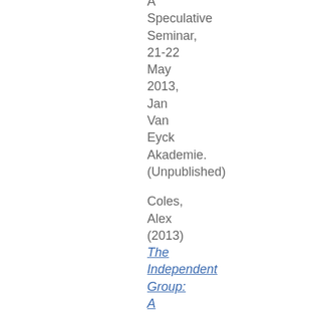A Speculative Seminar, 21-22 May 2013, Jan Van Eyck Akademie. (Unpublished)
Coles, Alex (2013) The Independent Group: A Transdisciplinary Approach. In: